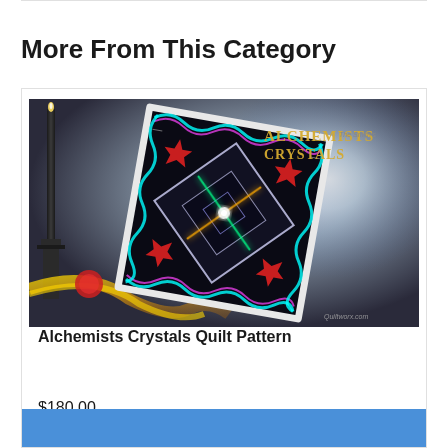More From This Category
[Figure (photo): Product image of Alchemists Crystals Quilt Pattern book cover showing a dark decorative quilt with colorful crystal-like star pattern, surrounded by mystical candlestick decor]
Alchemists Crystals Quilt Pattern
$180.00